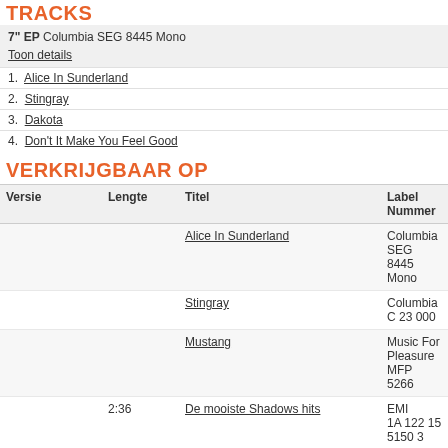TRACKS
7" EP Columbia SEG 8445 Mono
Toon details
1. Alice In Sunderland
2. Stingray
3. Dakota
4. Don't It Make You Feel Good
VERKRIJGBAAR OP
| Versie | Lengte | Titel | Label Nummer |
| --- | --- | --- | --- |
|  |  | Alice In Sunderland | Columbia
SEG 8445 Mono |
|  |  | Stingray | Columbia
C 23 000 |
|  |  | Mustang | Music For Pleasure
MFP 5266 |
|  | 2:36 | De mooiste Shadows hits | EMI
1A 122 15 5150 3 |
|  | 2:42 | The Early Years | EMI
CDS 7971712 |
»» alles tonen
THE SHADOWS  DISCOGRAFIE / FAN WORDEN
CHARTS  NUMMERS  ALBUMS  DVD'S  FAVORIETENLIJST
| Singles - Dutch Charts |
| --- |
| Titel |